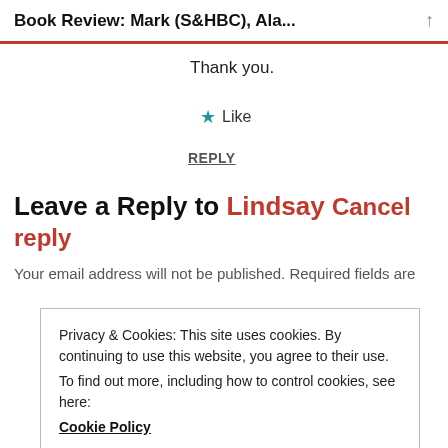Book Review: Mark (S&HBC), Ala...
Thank you.
★ Like
REPLY
Leave a Reply to Lindsay Cancel reply
Your email address will not be published. Required fields are
Privacy & Cookies: This site uses cookies. By continuing to use this website, you agree to their use.
To find out more, including how to control cookies, see here:
Cookie Policy
Close and accept